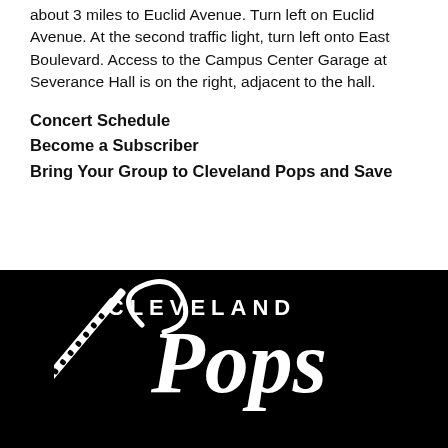about 3 miles to Euclid Avenue. Turn left on Euclid Avenue. At the second traffic light, turn left onto East Boulevard. Access to the Campus Center Garage at Severance Hall is on the right, adjacent to the hall.
Concert Schedule
Become a Subscriber
Bring Your Group to Cleveland Pops and Save
[Figure (logo): Cleveland Pops logo — white script 'Pops' with clarinet illustration and 'CLEVELAND' text above, on black background]